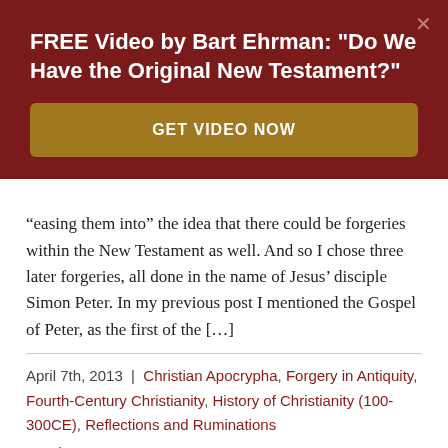FREE Video by Bart Ehrman: "Do We Have the Original New Testament?"
[Figure (other): GET VIDEO NOW call-to-action button in gold/brown color]
“easing them into” the idea that there could be forgeries within the New Testament as well. And so I chose three later forgeries, all done in the name of Jesus’ disciple Simon Peter. In my previous post I mentioned the Gospel of Peter, as the first of the […]
April 7th, 2013 | Christian Apocrypha, Forgery in Antiquity, Fourth-Century Christianity, History of Christianity (100-300CE), Reflections and Ruminations
Read More ›